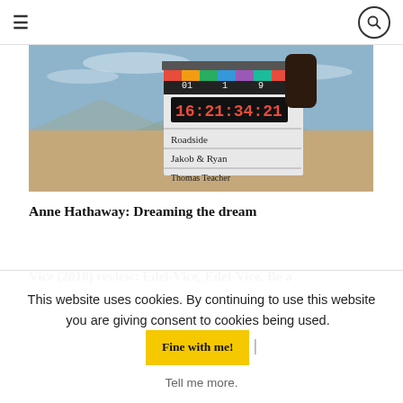≡  [search icon]
[Figure (photo): Hand holding a film clapperboard in an outdoor desert setting. The clapperboard shows timecode 16:21:34:21, with labels reading 'Roadside', 'Jakob & Ryan', 'Thomas Teacher'.]
Anne Hathaway: Dreaming the dream
Vice (2018) review: Edel-Vice, Edel-Vice, Be a
This website uses cookies. By continuing to use this website you are giving consent to cookies being used. Fine with me! | Tell me more.